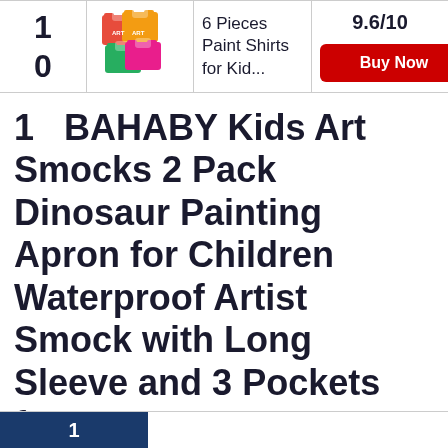| Rank | Image | Product | Score/Action |
| --- | --- | --- | --- |
| 10 | [image] | 6 Pieces Paint Shirts for Kid... | 9.6/10 | Buy Now |
1   BAHABY Kids Art Smocks 2 Pack Dinosaur Painting Apron for Children Waterproof Artist Smock with Long Sleeve and 3 Pockets for Age 3-8 Years
[Figure (other): Bottom navigation bar with dark blue section showing number 1]